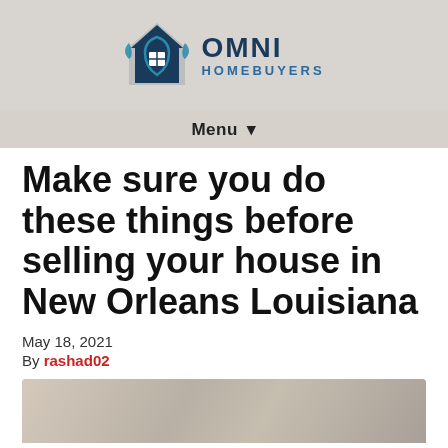[Figure (logo): Omni Homebuyers logo with a house/hands icon and text 'OMNI HOMEBUYERS']
Menu ▾
Make sure you do these things before selling your house in New Orleans Louisiana
May 18, 2021
By rashad02
[Figure (photo): Partially visible photo of people, bottom portion of page]